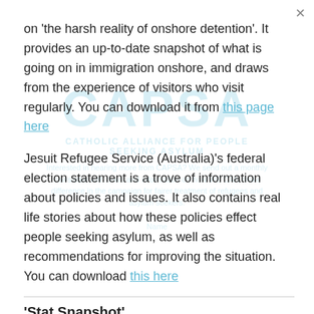on 'the harsh reality of onshore detention'. It provides an up-to-date snapshot of what is going on in immigration onshore, and draws from the experience of visitors who visit regularly. You can download it from this page here
Jesuit Refugee Service (Australia)'s federal election statement is a trove of information about policies and issues. It also contains real life stories about how these policies effect people seeking asylum, as well as recommendations for improving the situation. You can download this here
'Stat Snapshot'
Up to date statistics on offshore processing.
3,127 people have been sent to PNG and Nauru since 19th July 2013
There are approximately 715 people who are left